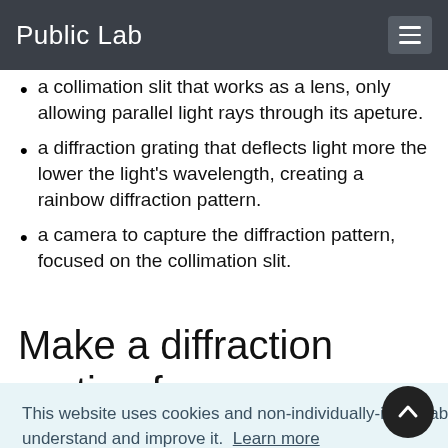Public Lab
a collimation slit that works as a lens, only allowing parallel light rays through its apeture.
a diffraction grating that deflects light more the lower the light's wavelength, creating a rainbow diffraction pattern.
a camera to capture the diffraction pattern, focused on the collimation slit.
Make a diffraction grating from
This website uses cookies and non-individually-identifiable tracking to help us understand and improve it.  Learn more
Got it!
d it by
ptical
ng a
device for separating light by frequency. An ideal diffraction